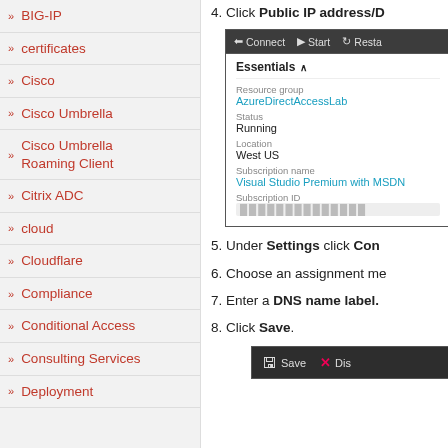» BIG-IP
» certificates
» Cisco
» Cisco Umbrella
» Cisco Umbrella Roaming Client
» Citrix ADC
» cloud
» Cloudflare
» Compliance
» Conditional Access
» Consulting Services
» Deployment
4. Click Public IP address/D
[Figure (screenshot): Azure portal screenshot showing Connect, Start, Restart toolbar buttons and Essentials panel with Resource group: AzureDirectAccessLab, Status: Running, Location: West US, Subscription name: Visual Studio Premium with MSDN, Subscription ID: (blurred)]
5. Under Settings click Con
6. Choose an assignment me
7. Enter a DNS name label.
8. Click Save.
[Figure (screenshot): Azure portal screenshot showing Save and Discard buttons at bottom]